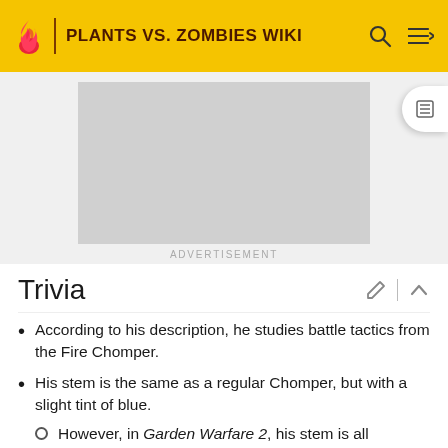PLANTS VS. ZOMBIES WIKI
[Figure (screenshot): Advertisement placeholder — grey rectangle]
ADVERTISEMENT
Trivia
According to his description, he studies battle tactics from the Fire Chomper.
His stem is the same as a regular Chomper, but with a slight tint of blue.
However, in Garden Warfare 2, his stem is all turquoise.